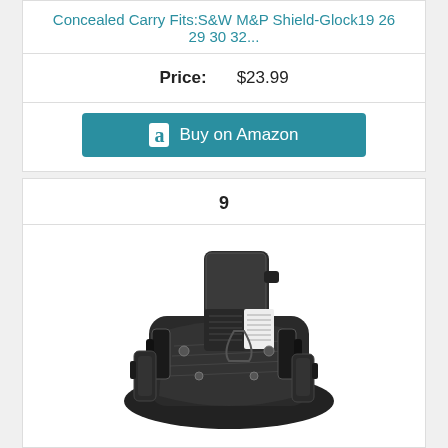Concealed Carry Fits:S&W M&P Shield-Glock19 26 29 30 32...
Price: $23.99
[Figure (other): Buy on Amazon button with Amazon logo]
9
[Figure (photo): Photo of a black IWB holster system with a handgun inserted, showing clips and magazine holder attachments]